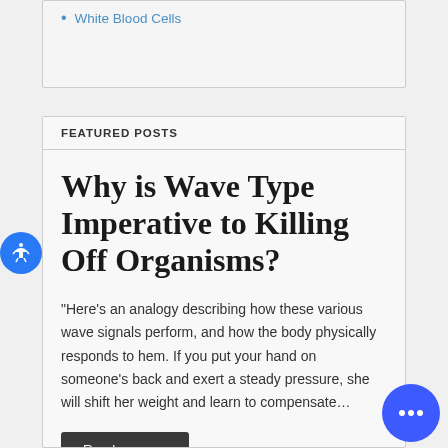White Blood Cells
FEATURED POSTS
Why is Wave Type Imperative to Killing Off Organisms?
“Here’s an analogy describing how these various wave signals perform, and how the body physically responds to hem. If you put your hand on someone’s back and exert a steady pressure, she will shift her weight and learn to compensate…